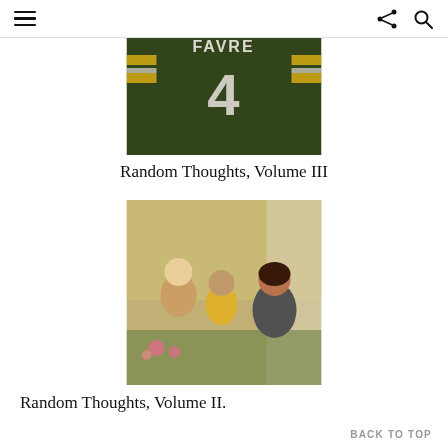≡  [share icon] [search icon]
[Figure (photo): Close-up of a football player wearing a green jersey with 'FAVRE' and number 4 on the back, with yellow and white stripes on the sleeves.]
Random Thoughts, Volume III
[Figure (photo): A woman crouching down and talking to two young children — a blonde girl and a boy in a yellow shirt — who appear to be sitting near pink flowers outside a house.]
Random Thoughts, Volume II.
BACK TO TOP